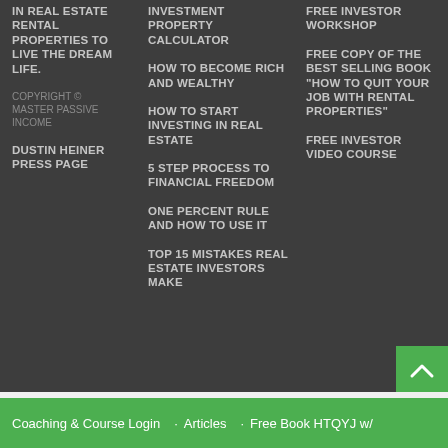IN REAL ESTATE RENTAL PROPERTIES TO LIVE THE DREAM LIFE.
COPYRIGHT © MASTER PASSIVE INCOME
DUSTIN HEINER PRESS PAGE
INVESTMENT PROPERTY CALCULATOR
HOW TO BECOME RICH AND WEALTHY
HOW TO START INVESTING IN REAL ESTATE
5 STEP PROCESS TO FINANCIAL FREEDOM
ONE PERCENT RULE AND HOW TO USE IT
TOP 15 MISTAKES REAL ESTATE INVESTORS MAKE
FREE INVESTOR WORKSHOP
FREE COPY OF THE BEST SELLING BOOK "HOW TO QUIT YOUR JOB WITH RENTAL PROPERTIES"
FREE INVESTOR VIDEO COURSE
Coaching & Course Login   Articles   Free Book HTQYJ w/